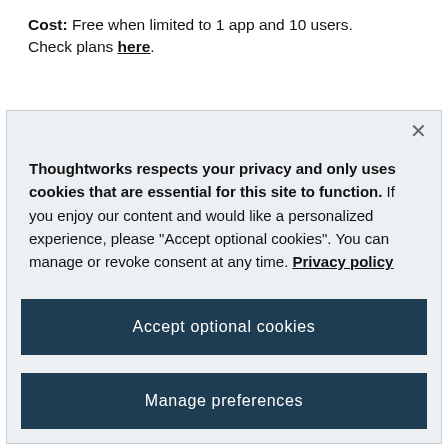Cost: Free when limited to 1 app and 10 users. Check plans here.
[Figure (screenshot): Cookie consent modal dialog with dark teal background buttons. Contains privacy notice text, an 'Accept optional cookies' button, and a 'Manage preferences' button. Has a close (×) button in the top right corner.]